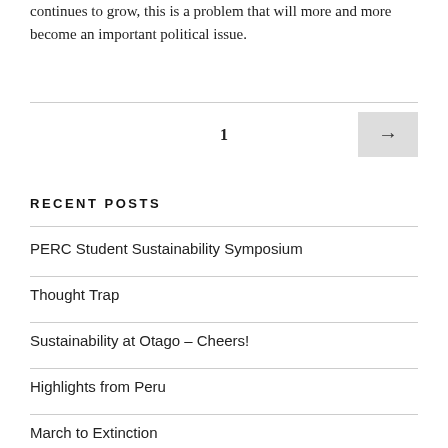continues to grow, this is a problem that will more and more become an important political issue.
1
RECENT POSTS
PERC Student Sustainability Symposium
Thought Trap
Sustainability at Otago – Cheers!
Highlights from Peru
March to Extinction